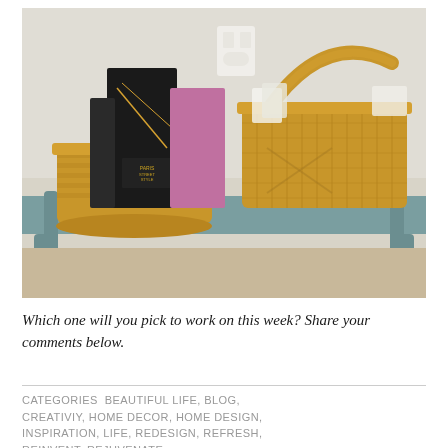[Figure (photo): Two wicker/rattan baskets sitting on a teal/blue-grey painted wooden bench or table. The left basket is shorter and wider, containing books including one titled 'Paris Street Style' with a black cover. The right basket is taller with an arch handle, containing rolled papers or magazines. A white electrical outlet is visible on the wall in the background.]
Which one will you pick to work on this week? Share your comments below.
CATEGORIES  BEAUTIFUL LIFE, BLOG, CREATIVIY, HOME DECOR, HOME DESIGN, INSPIRATION, LIFE, REDESIGN, REFRESH, REINVENT, REJUVENATE